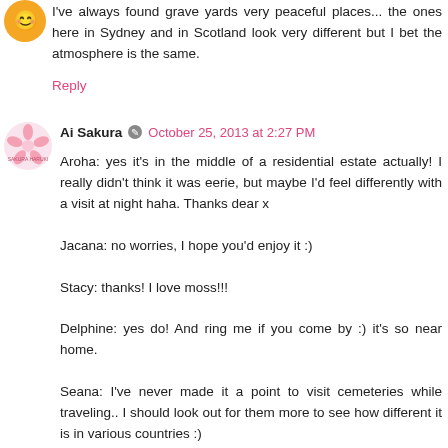[Figure (illustration): Orange circular avatar icon partially visible at top left]
I've always found grave yards very peaceful places... the ones here in Sydney and in Scotland look very different but I bet the atmosphere is the same.
Reply
[Figure (illustration): Pink cherry blossom / sakura themed avatar icon for Ai Sakura]
Ai Sakura  October 25, 2013 at 2:27 PM
Aroha: yes it's in the middle of a residential estate actually! I really didn't think it was eerie, but maybe I'd feel differently with a visit at night haha. Thanks dear x

Jacana: no worries, I hope you'd enjoy it :)

Stacy: thanks! I love moss!!!

Delphine: yes do! And ring me if you come by :) it's so near home.

Seana: I've never made it a point to visit cemeteries while traveling.. I should look out for them more to see how different it is in various countries :)